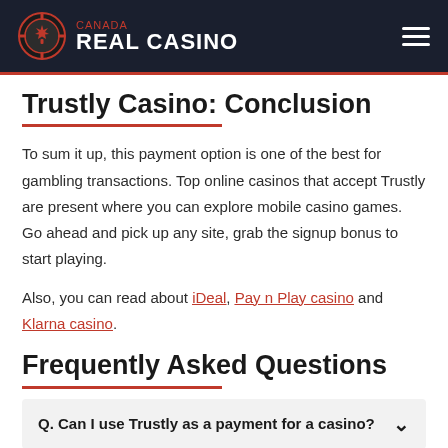Canada REAL CASINO
Trustly Casino: Conclusion
To sum it up, this payment option is one of the best for gambling transactions. Top online casinos that accept Trustly are present where you can explore mobile casino games. Go ahead and pick up any site, grab the signup bonus to start playing.
Also, you can read about iDeal, Pay n Play casino and Klarna casino.
Frequently Asked Questions
Q. Can I use Trustly as a payment for a casino?